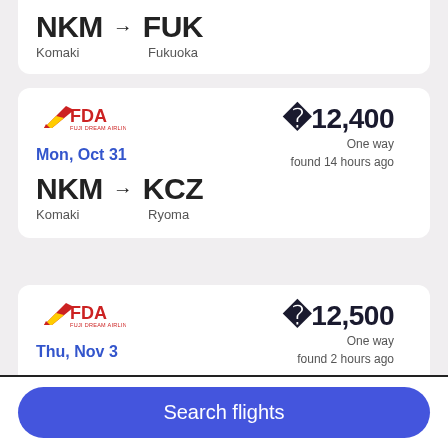NKM → FUK
Komaki   Fukuoka
[Figure (logo): FDA airline logo - red and yellow wing with FDA text]
¥12,400
One way
found 14 hours ago
Mon, Oct 31
NKM → KCZ
Komaki   Ryoma
[Figure (logo): FDA airline logo - red and yellow wing with FDA text]
¥12,500
One way
found 2 hours ago
Thu, Nov 3
NKM → AOJ
Komaki   Aomori
Search flights